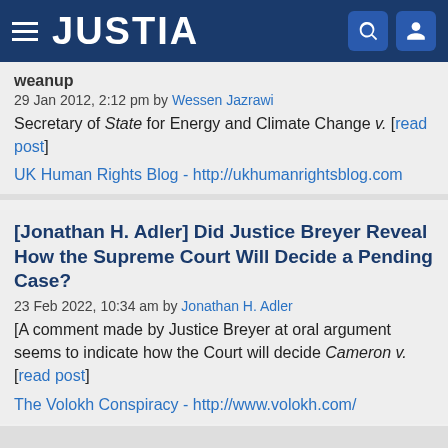JUSTIA
weanup
29 Jan 2012, 2:12 pm by Wessen Jazrawi
Secretary of State for Energy and Climate Change v. [read post]
UK Human Rights Blog - http://ukhumanrightsblog.com
[Jonathan H. Adler] Did Justice Breyer Reveal How the Supreme Court Will Decide a Pending Case?
23 Feb 2022, 10:34 am by Jonathan H. Adler
[A comment made by Justice Breyer at oral argument seems to indicate how the Court will decide Cameron v. [read post]
The Volokh Conspiracy - http://www.volokh.com/